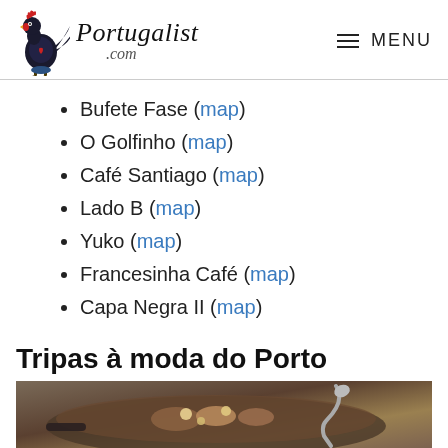Portugalist .com | MENU
Bufete Fase (map)
O Golfinho (map)
Café Santiago (map)
Lado B (map)
Yuko (map)
Francesinha Café (map)
Capa Negra II (map)
Tripas à moda do Porto
[Figure (photo): A pan of cooked tripe dish with beans and meat, Tripas à moda do Porto, with a spoon visible]